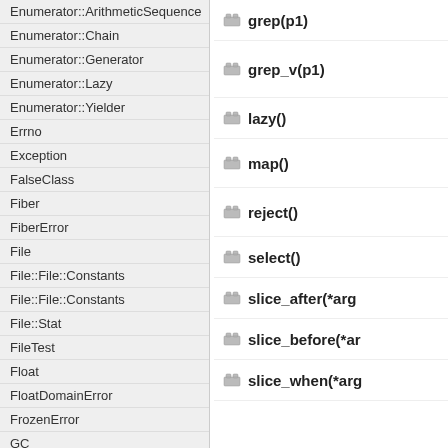Enumerator::ArithmeticSequence
Enumerator::Chain
Enumerator::Generator
Enumerator::Lazy
Enumerator::Yielder
Errno
Exception
FalseClass
Fiber
FiberError
File
File::File::Constants
File::File::Constants
File::Stat
FileTest
Float
FloatDomainError
FrozenError
GC
GC::Profiler
grep(p1)
grep_v(p1)
lazy()
map()
reject()
select()
slice_after(*arg)
slice_before(*ar)
slice_when(*arg)